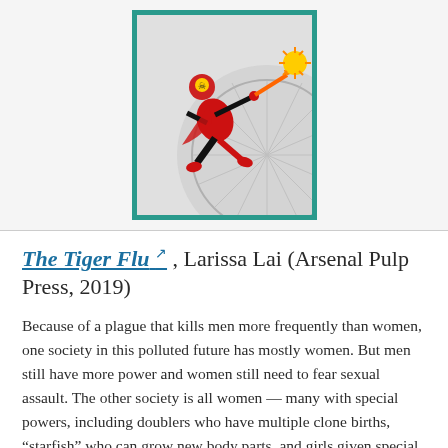[Figure (illustration): Book cover illustration of a superhero figure in red and black costume flying/leaping, shooting an orange laser beam toward a sun shape, with a large circular mechanical gear or wheel in the background. Teal/green border around the cover.]
The Tiger Flu ↗ , Larissa Lai (Arsenal Pulp Press, 2019)
Because of a plague that kills men more frequently than women, one society in this polluted future has mostly women. But men still have more power and women still need to fear sexual assault. The other society is all women — many with special powers, including doublers who have multiple clone births, "starfish" who can grow new body parts, and girls given special treatment so they can help